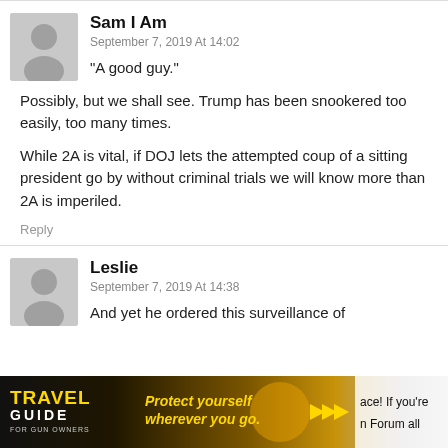Sam I Am
September 7, 2019 At 14:02
“A good guy.”

Possibly, but we shall see. Trump has been snookered too easily, too many times.

While 2A is vital, if DOJ lets the attempted coup of a sitting president go by without criminal trials we will know more than 2A is imperiled.
Reply
Leslie
September 7, 2019 At 14:38
And yet he ordered this surveillance of
[Figure (other): Travel Guide For Gun Owners advertisement banner with text 'Protect yourself wherever you go.' and U.S. LawShield branding with gold arrow play buttons]